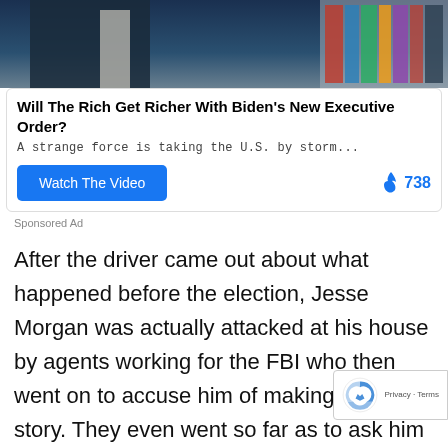[Figure (photo): Partial view of person in dark suit near a bookcase or shelving with colorful spines visible]
Will The Rich Get Richer With Biden's New Executive Order?
A strange force is taking the U.S. by storm...
Watch The Video   🔥 738
Sponsored Ad
After the driver came out about what happened before the election, Jesse Morgan was actually attacked at his house by agents working for the FBI who then went on to accuse him of making up his story. They even went so far as to ask him who was paying him to come up with the alleged work of fiction.